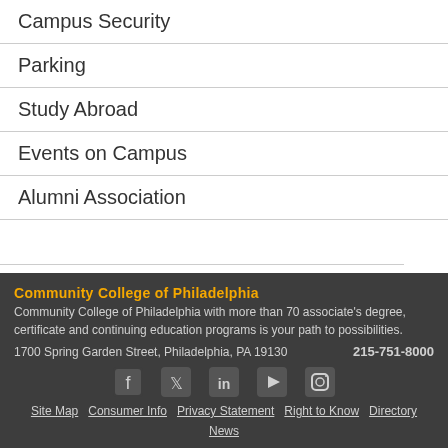Campus Security
Parking
Study Abroad
Events on Campus
Alumni Association
Community College of Philadelphia
Community College of Philadelphia with more than 70 associate's degree, certificate and continuing education programs is your path to possibilities.
1700 Spring Garden Street, Philadelphia, PA 19130    215-751-8000
Site Map  Consumer Info  Privacy Statement  Right to Know  Directory  News